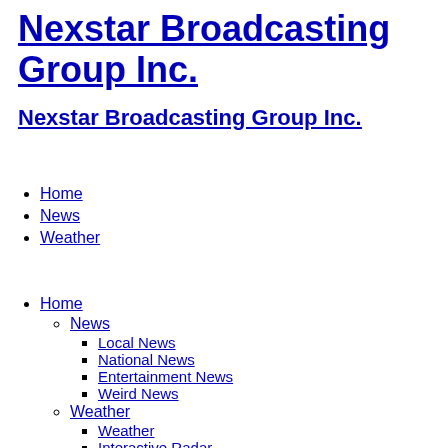Nexstar Broadcasting Group Inc.
Nexstar Broadcasting Group Inc.
Home
News
Weather
Home
News
Local News
National News
Entertainment News
Weird News
Weather
Weather
Interactive Radar
Weather Alerts
Closings And Delays
Forecast